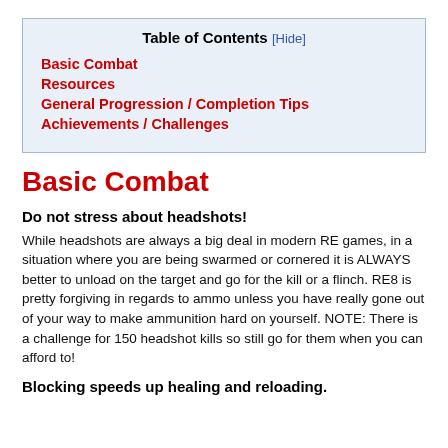| Basic Combat |
| Resources |
| General Progression / Completion Tips |
| Achievements / Challenges |
Basic Combat
Do not stress about headshots!
While headshots are always a big deal in modern RE games, in a situation where you are being swarmed or cornered it is ALWAYS better to unload on the target and go for the kill or a flinch. RE8 is pretty forgiving in regards to ammo unless you have really gone out of your way to make ammunition hard on yourself. NOTE: There is a challenge for 150 headshot kills so still go for them when you can afford to!
Blocking speeds up healing and reloading.